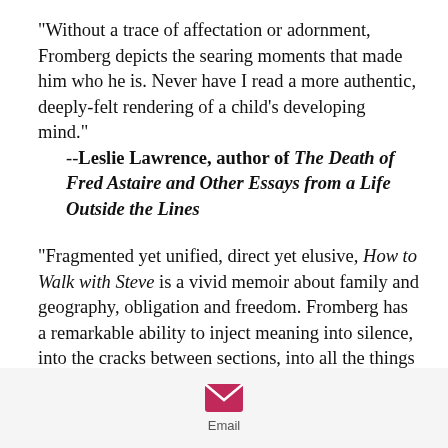"Without a trace of affectation or adornment, Fromberg depicts the searing moments that made him who he is. Never have I read a more authentic, deeply-felt rendering of a child's developing mind."
    --Leslie Lawrence, author of The Death of Fred Astaire and Other Essays from a Life Outside the Lines
"Fragmented yet unified, direct yet elusive, How to Walk with Steve is a vivid memoir about family and geography, obligation and freedom. Fromberg has a remarkable ability to inject meaning into silence, into the cracks between sections, into all the things that remain unsaid."
    --Brett Biebel, author of 48 Blitz
[Figure (other): Email icon (envelope) in magenta/pink color with 'Email' label below]